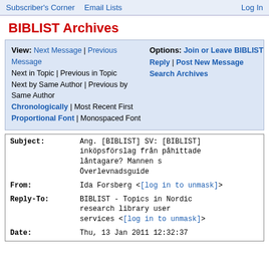Subscriber's Corner  Email Lists  Log In
BIBLIST Archives
View: Next Message | Previous Message | Next in Topic | Previous in Topic | Next by Same Author | Previous by Same Author | Chronologically | Most Recent First | Proportional Font | Monospaced Font  Options: Join or Leave BIBLIST | Reply | Post New Message | Search Archives
| Field | Value |
| --- | --- |
| Subject: | Ang. [BIBLIST] SV: [BIBLIST] inköpsförslag från påhittade låntagare? Mannen s Överlevnadsguide |
| From: | Ida Forsberg <[log in to unmask]> |
| Reply-To: | BIBLIST - Topics in Nordic research library user services <[log in to unmask]> |
| Date: | Thu, 13 Jan 2011 12:32:37 |